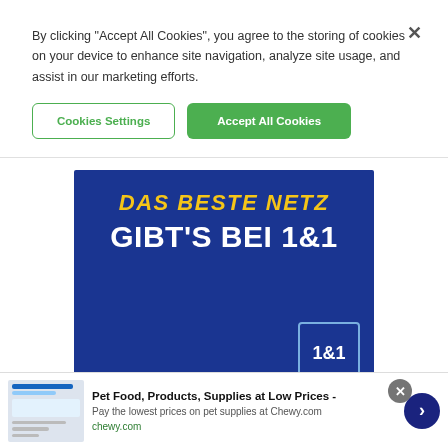By clicking “Accept All Cookies”, you agree to the storing of cookies on your device to enhance site navigation, analyze site usage, and assist in our marketing efforts.
Cookies Settings
Accept All Cookies
[Figure (illustration): Blue advertisement banner for 1&1 telecommunications. Yellow italic text reads 'DAS BESTE NETZ' and bold white text reads 'GIBT’S BEI 1&1'. The 1&1 logo appears in bottom right corner with a square border.]
Advertisement
[Figure (screenshot): Bottom advertisement banner for Chewy.com showing 'Pet Food, Products, Supplies at Low Prices - Pay the lowest prices on pet supplies at Chewy.com' with chewy.com URL, a product image thumbnail on the left, close button, and a dark blue circular arrow button on the right.]